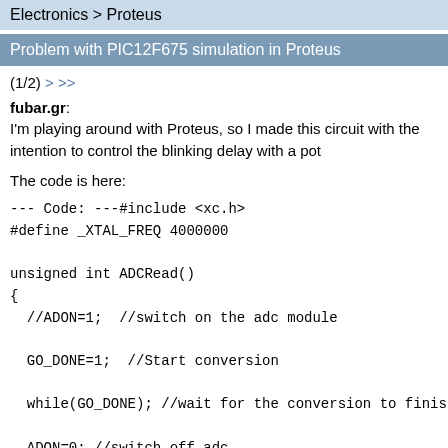Electronics > Proteus
Problem with PIC12F675 simulation in Proteus
(1/2) > >>
fubar.gr:
I'm playing around with Proteus, so I made this circuit with the intention to control the blinking delay with a pot
The code is here:
--- Code: ---#include <xc.h>
#define _XTAL_FREQ 4000000

unsigned int ADCRead()
{
  //ADON=1;  //switch on the adc module

  GO_DONE=1;  //Start conversion

  while(GO_DONE); //wait for the conversion to finish

  ADON=0; //switch off adc